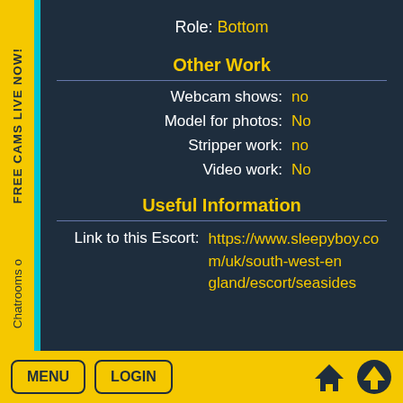Role: Bottom
Other Work
Webcam shows: no
Model for photos: No
Stripper work: no
Video work: No
Useful Information
Link to this Escort: https://www.sleepyboy.com/uk/south-west-england/escort/seasides
FREE CAMS LIVE NOW!
Chatrooms o
MENU  LOGIN